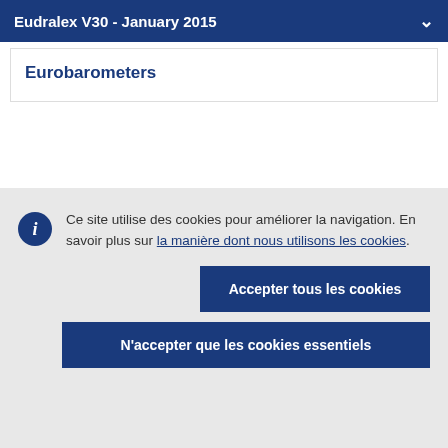Eudralex V30 - January 2015
Eurobarometers
Ce site utilise des cookies pour améliorer la navigation. En savoir plus sur la manière dont nous utilisons les cookies.
Accepter tous les cookies
N'accepter que les cookies essentiels